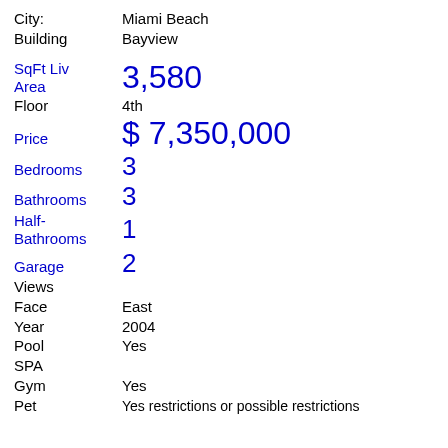City: Miami Beach
Building  Bayview
SqFt Liv Area  3,580
Floor  4th
Price  $ 7,350,000
Bedrooms  3
Bathrooms  3
Half-Bathrooms  1
Garage  2
Views
Face  East
Year  2004
Pool  Yes
SPA
Gym  Yes
Pet  Yes restrictions or possible restrictions